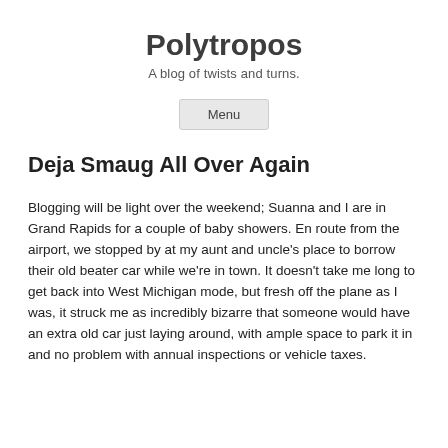Polytropos
A blog of twists and turns.
Menu
Deja Smaug All Over Again
Blogging will be light over the weekend; Suanna and I are in Grand Rapids for a couple of baby showers. En route from the airport, we stopped by at my aunt and uncle's place to borrow their old beater car while we're in town. It doesn't take me long to get back into West Michigan mode, but fresh off the plane as I was, it struck me as incredibly bizarre that someone would have an extra old car just laying around, with ample space to park it in and no problem with annual inspections or vehicle taxes.